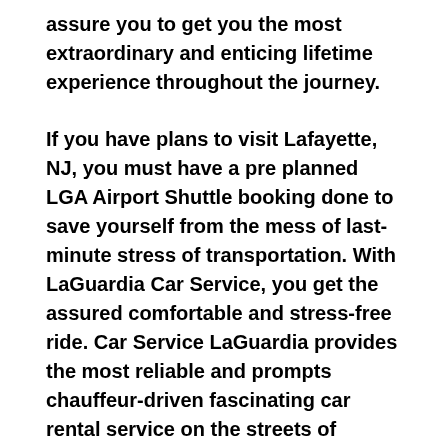assure you to get you the most extraordinary and enticing lifetime experience throughout the journey.
If you have plans to visit Lafayette, NJ, you must have a pre planned LGA Airport Shuttle booking done to save yourself from the mess of last-minute stress of transportation. With LaGuardia Car Service, you get the assured comfortable and stress-free ride. Car Service LaGuardia provides the most reliable and prompts chauffeur-driven fascinating car rental service on the streets of Lafayette, NJ.
With LGA Airport Transportation it makes a great sense to visit the city most appropriately and